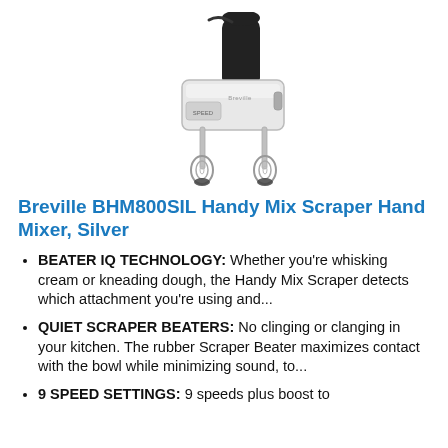[Figure (photo): Photo of Breville BHM800SIL Handy Mix Scraper Hand Mixer in silver color with black handle, showing whisk beater attachments hanging below the mixer body.]
Breville BHM800SIL Handy Mix Scraper Hand Mixer, Silver
BEATER IQ TECHNOLOGY: Whether you're whisking cream or kneading dough, the Handy Mix Scraper detects which attachment you're using and...
QUIET SCRAPER BEATERS: No clinging or clanging in your kitchen. The rubber Scraper Beater maximizes contact with the bowl while minimizing sound, to...
9 SPEED SETTINGS: 9 speeds plus boost to